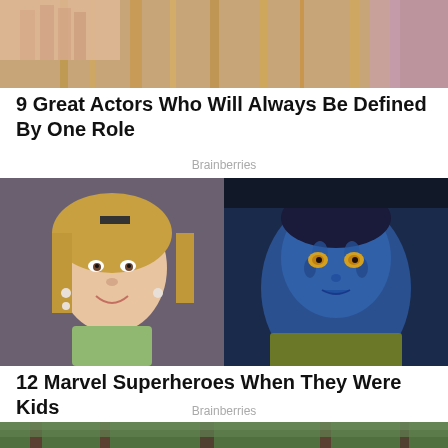[Figure (photo): Cropped photo showing a person with blonde hair, close-up of fingers/hair visible at top of page]
9 Great Actors Who Will Always Be Defined By One Role
Brainberries
[Figure (photo): Side-by-side comparison: left shows a young blonde girl smiling (school photo), right shows a blue-skinned superhero character (Mystique from X-Men)]
12 Marvel Superheroes When They Were Kids
Brainberries
[Figure (photo): Bottom of page showing a partially visible outdoor scene with green trees]